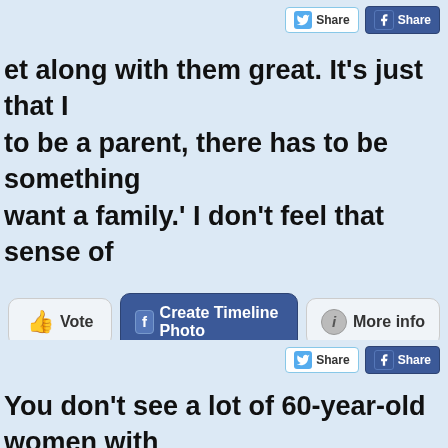et along with them great. It's just that I to be a parent, there has to be something want a family.' I don't feel that sense of
[Figure (screenshot): Action buttons row: Vote (thumbs up), Create Timeline Photo (Facebook), More info (info icon)]
You don't see a lot of 60-year-old women with een"